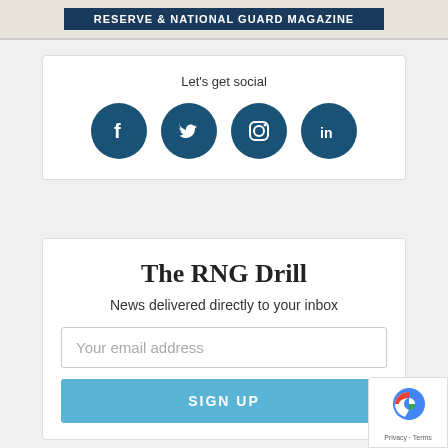[Figure (logo): Reserve & National Guard Magazine banner logo with dark blue background and white bold uppercase text]
Let's get social
[Figure (infographic): Four dark blue circular social media icons: Facebook (f), Twitter (bird), Instagram (camera), LinkedIn (in)]
The RNG Drill
News delivered directly to your inbox
Your email address
SIGN UP